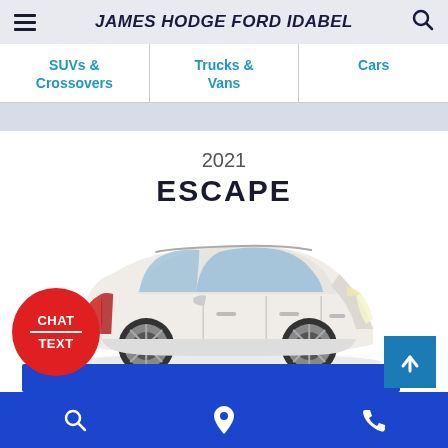JAMES HODGE FORD IDABEL
SUVs & Crossovers
Trucks & Vans
Cars
2021
ESCAPE
[Figure (photo): Side profile of a 2021 Ford Escape SUV in white/pearl color with chrome alloy wheels on a light background]
CHAT / TEXT